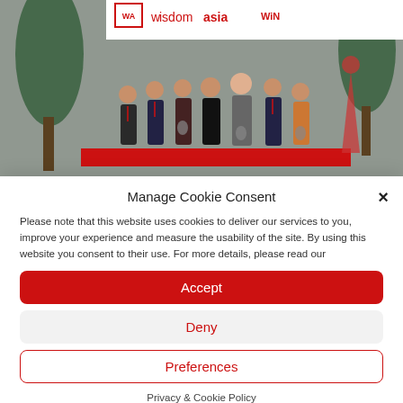[Figure (photo): Group photo of seven people standing in front of a banner showing 'wisdomasia' and 'WiN' logos at what appears to be a conference or award ceremony.]
Manage Cookie Consent
Please note that this website uses cookies to deliver our services to you, improve your experience and measure the usability of the site. By using this website you consent to their use. For more details, please read our
Accept
Deny
Preferences
Privacy & Cookie Policy